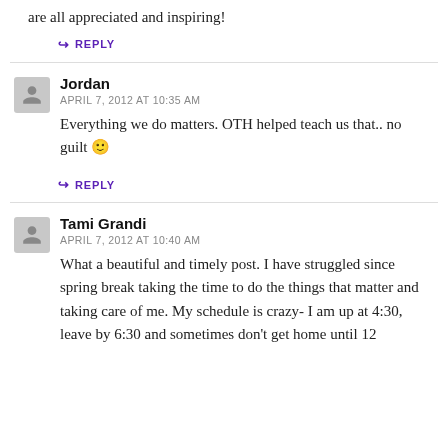are all appreciated and inspiring!
↪ REPLY
Jordan
APRIL 7, 2012 AT 10:35 AM
Everything we do matters. OTH helped teach us that.. no guilt 🙂
↪ REPLY
Tami Grandi
APRIL 7, 2012 AT 10:40 AM
What a beautiful and timely post. I have struggled since spring break taking the time to do the things that matter and taking care of me. My schedule is crazy- I am up at 4:30, leave by 6:30 and sometimes don't get home until 12